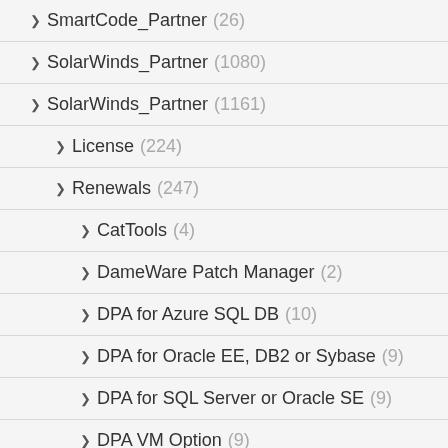SmartCode_Partner (26)
SolarWinds_Partner (1080)
SolarWinds_Partner (1161)
License (224)
Renewals (247)
CatTools (4)
DameWare Patch Manager (2)
DPA for Azure SQL DB (10)
DPA for Oracle EE, DB2 or Sybase (9)
DPA for SQL Server or Oracle SE (9)
DPA VM Option (9)